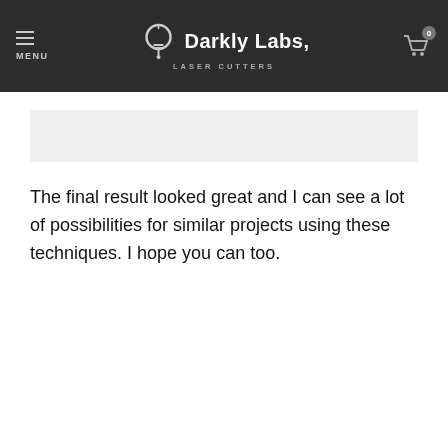Darkly Labs LASER CUTTERS
[Figure (other): Gray placeholder bar beneath navigation header]
The final result looked great and I can see a lot of possibilities for similar projects using these techniques. I hope you can too.